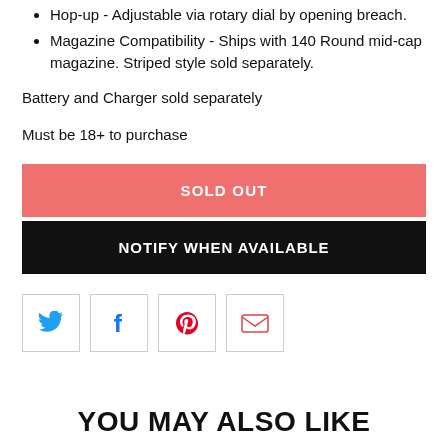Hop-up - Adjustable via rotary dial by opening breach.
Magazine Compatibility - Ships with 140 Round mid-cap magazine. Striped style sold separately.
Battery and Charger sold separately
Must be 18+ to purchase
[Figure (other): Sold Out button - salmon/pink background with white bold text 'SOLD OUT']
[Figure (other): Notify When Available button - black background with white bold text 'NOTIFY WHEN AVAILABLE']
[Figure (other): Social sharing icons row: Twitter (blue bird), Facebook (blue f), Pinterest (red P), Email (red envelope), each in a square outlined box]
YOU MAY ALSO LIKE